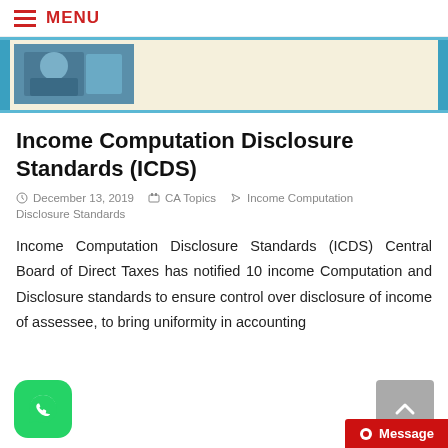MENU
[Figure (screenshot): Banner image with blue side bars and a photo of a person on left side against a beige/cream background]
Income Computation Disclosure Standards (ICDS)
December 13, 2019   CA Topics   Income Computation Disclosure Standards
Income Computation Disclosure Standards (ICDS) Central Board of Direct Taxes has notified 10 income Computation and Disclosure standards to ensure control over disclosure of income of assessee, to bring uniformity in accounting